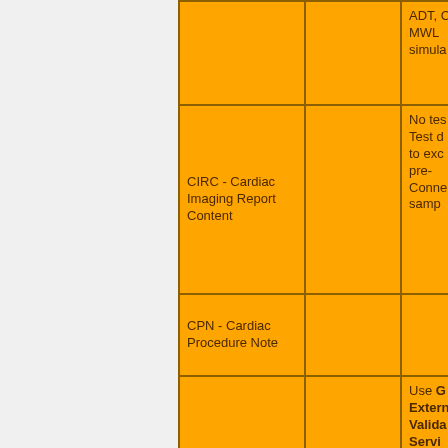| Document Type | Test Status | Notes |
| --- | --- | --- |
|  |  | ADT, C MWL simula |
| CIRC - Cardiac Imaging Report Content |  | No tes Test d to exc pre- Conne samp |
| CPN - Cardiac Procedure Note |  |  |
| CRC - Cath Report Content | TESTS READY | Use G Extern Valida Servi valida the CD docu |